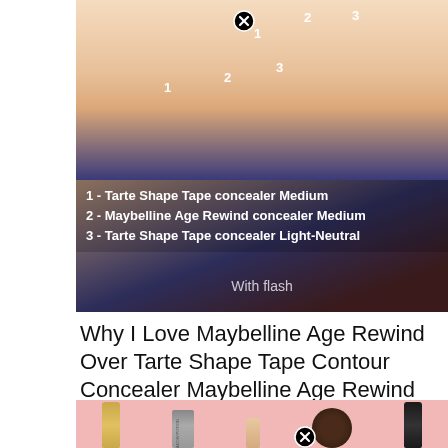[Figure (photo): Concealer swatches on skin showing three numbered shades. Labels: 1 - Tarte Shape Tape concealer Medium, 2 - Maybelline Age Rewind concealer Medium, 3 - Tarte Shape Tape concealer Light-Neutral. Caption reads 'With flash'.]
Why I Love Maybelline Age Rewind Over Tarte Shape Tape Contour Concealer Maybelline Age Rewind Concealer Shape Tape Concealer Swatches Shape Tape Concealer
[Figure (photo): Beauty products displayed on pink background including a gold tube, a grey tube labeled Shadow Potion, a nude applicator, a large dark round compact, and a dark cylindrical product. A close/X button overlay is visible.]